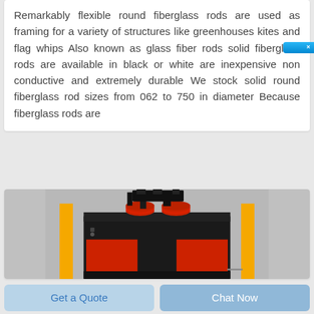Remarkably flexible round fiberglass rods are used as framing for a variety of structures like greenhouses kites and flag whips Also known as glass fiber rods solid fiberglass rods are available in black or white are inexpensive non conductive and extremely durable We stock solid round fiberglass rod sizes from 062 to 750 in diameter Because fiberglass rods are
[Figure (photo): Industrial machine with black metal body, red side panels, yellow vertical bars on left and right sides, and red circular rollers/wheels on top with mechanical components]
Get a Quote
Chat Now